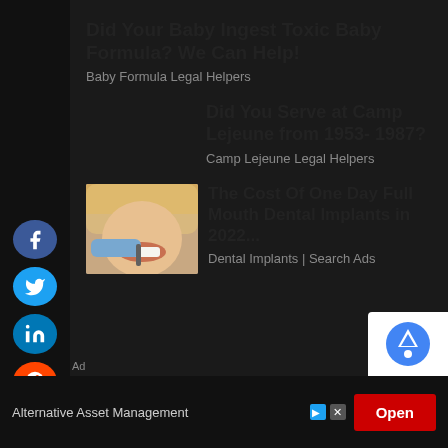Did Your Baby Ingest Toxic Baby Formula? We Can Help!
Baby Formula Legal Helpers
Did You Serve at Camp Lejeune from 1953- 1987?
Camp Lejeune Legal Helpers
[Figure (photo): Close-up photo of a dental procedure, showing a person with blonde hair and a dental tool near their teeth]
The Cost Of One Day Full Mouth Dental Implants in 2022...
Dental Implants | Search Ads
Alternative Asset Management  Open  Ad